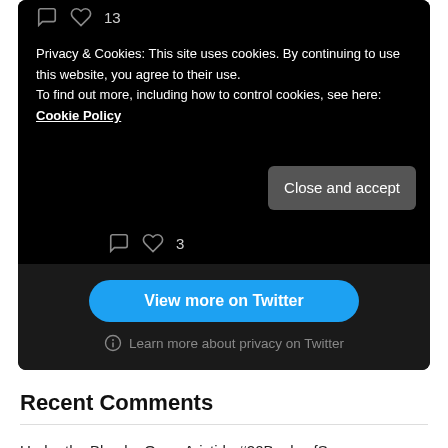[Figure (screenshot): Twitter/X embed dark UI showing cookie consent banner with 'Close and accept' button, heart/comment icons with counts (13 and 3), 'View more on Twitter' blue button, and 'Learn more about privacy on Twitter' link]
Recent Comments
Under the Blue by Oana Aristide #20BooksofSummer – Annabookbel on Station Eleven by Emily St John Mandel